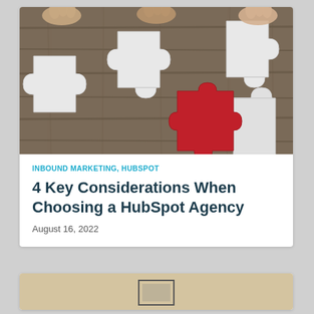[Figure (photo): Overhead view of hands assembling white puzzle pieces on a wooden table, with one red puzzle piece in the center]
INBOUND MARKETING, HUBSPOT
4 Key Considerations When Choosing a HubSpot Agency
August 16, 2022
[Figure (photo): Partial view of a second article card image — tan/beige background with a small framed element visible]